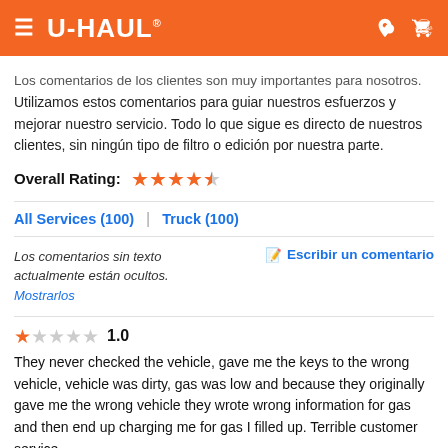[Figure (logo): U-Haul orange header with hamburger menu, U-HAUL logo, location pin icon, and cart icon]
Los comentarios de los clientes son muy importantes para nosotros. Utilizamos estos comentarios para guiar nuestros esfuerzos y mejorar nuestro servicio. Todo lo que sigue es directo de nuestros clientes, sin ningún tipo de filtro o edición por nuestra parte.
Overall Rating: ★★★★☆
All Services (100) | Truck (100)
Los comentarios sin texto actualmente están ocultos. Mostrarlos
Escribir un comentario
★☆☆☆☆ 1.0
They never checked the vehicle, gave me the keys to the wrong vehicle, vehicle was dirty, gas was low and because they originally gave me the wrong vehicle they wrote wrong information for gas and then end up charging me for gas I filled up. Terrible customer service.